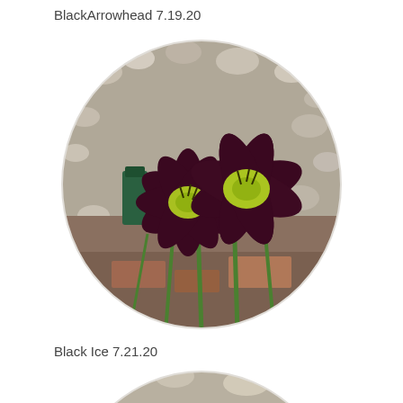BlackArrowhead 7.19.20
[Figure (photo): Two dark maroon/burgundy daylily flowers with yellow-green centers, photographed in a garden with gravel and brick ground cover. Image is cropped in an oval shape.]
Black Ice 7.21.20
[Figure (photo): Partial view of another daylily flower, cropped in an oval shape, showing gravel background and green foliage. Image is cut off at the bottom of the page.]